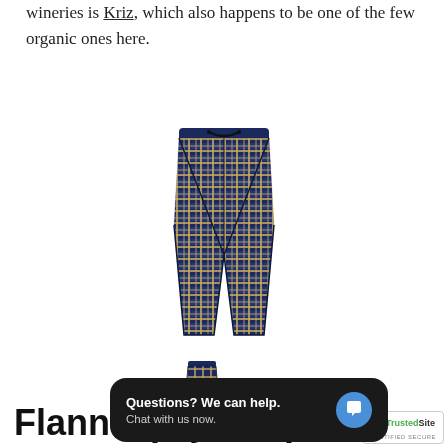wineries is Kriz, which also happens to be one of the few organic ones here.
[Figure (photo): Main product photo: navy blue and tan plaid flannel pajama pants with drawstring waist, displayed flat against white background]
[Figure (photo): Small thumbnail image of the same plaid flannel pajama pants]
[Figure (screenshot): Chat widget overlay with dark background reading 'Questions? We can help. Chat with us now.' with a blue chat icon button]
Flannel pajama pants me
[Figure (logo): TrustedSite Certified Secure badge with green checkmark]